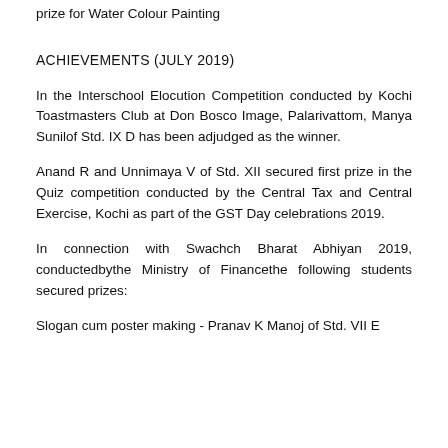prize for Water Colour Painting
ACHIEVEMENTS (JULY 2019)
In the Interschool Elocution Competition conducted by Kochi Toastmasters Club at Don Bosco Image, Palarivattom, Manya Sunilof Std. IX D has been adjudged as the winner.
Anand R and Unnimaya V of Std. XII secured first prize in the Quiz competition conducted by the Central Tax and Central Exercise, Kochi as part of the GST Day celebrations 2019.
In connection with Swachch Bharat Abhiyan 2019, conductedbythe Ministry of Financethe following students secured prizes:
Slogan cum poster making - Pranav K Manoj of Std. VII E